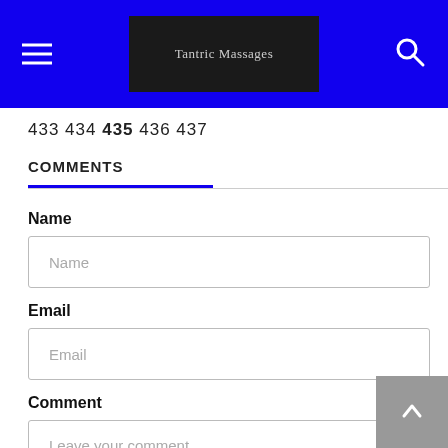Tantric Massages
433 434 435 436 437
COMMENTS
Name
Name
Email
Email
Comment
Leave your comment...